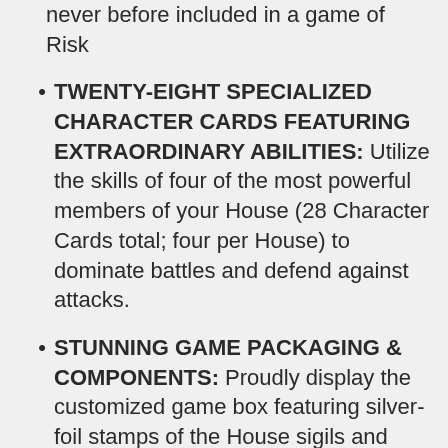never before included in a game of Risk
TWENTY-EIGHT SPECIALIZED CHARACTER CARDS FEATURING EXTRAORDINARY ABILITIES: Utilize the skills of four of the most powerful members of your House (28 Character Cards total; four per House) to dominate battles and defend against attacks.
STUNNING GAME PACKAGING & COMPONENTS: Proudly display the customized game box featuring silver-foil stamps of the House sigils and then organize your armies in specialized army storage containers within the game box.